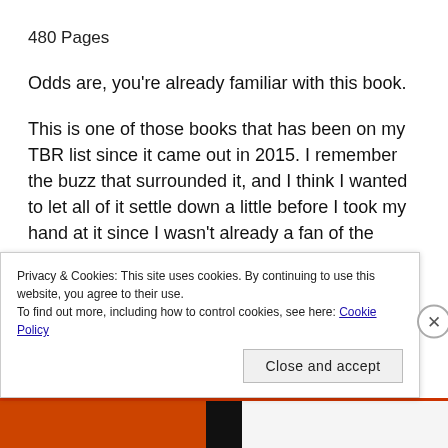480 Pages
Odds are, you’re already familiar with this book.
This is one of those books that has been on my TBR list since it came out in 2015. I remember the buzz that surrounded it, and I think I wanted to let all of it settle down a little before I took my hand at it since I wasn’t already a fan of the author or hadn’t read any of her work yet.  But, at the beginning of this school
Privacy & Cookies: This site uses cookies. By continuing to use this website, you agree to their use.
To find out more, including how to control cookies, see here: Cookie Policy
Close and accept